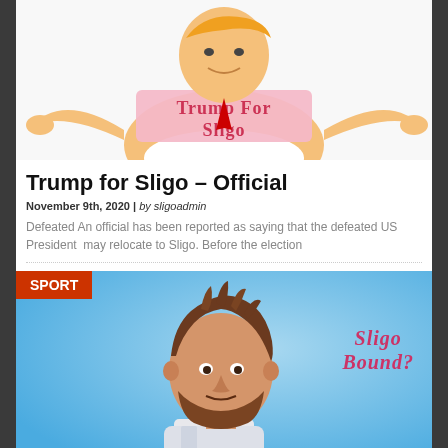[Figure (illustration): Cartoon illustration of Trump figure with 'Trump For Sligo' text on a pink sash/banner, orange figure with outstretched arms]
Trump for Sligo – Official
November 9th, 2020 | by sligoadmin
Defeated An official has been reported as saying that the defeated US President  may relocate to Sligo. Before the election
[Figure (illustration): Cartoon illustration of Lionel Messi with 'Sligo Bound?' text overlay on blue background, with a red 'SPORT' badge in top left corner]